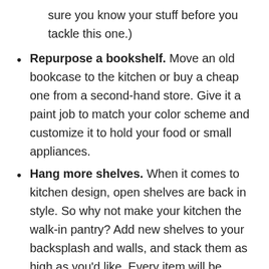sure you know your stuff before you tackle this one.)
Repurpose a bookshelf. Move an old bookcase to the kitchen or buy a cheap one from a second-hand store. Give it a paint job to match your color scheme and customize it to hold your food or small appliances.
Hang more shelves. When it comes to kitchen design, open shelves are back in style. So why not make your kitchen the walk-in pantry? Add new shelves to your backsplash and walls, and stack them as high as you'd like. Every item will be within reach and you'll utilize what was once unused space.